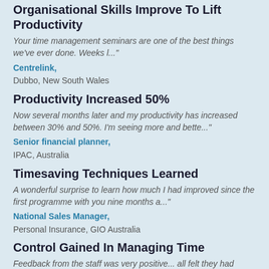Organisational Skills Improve To Lift Productivity
Your time management seminars are one of the best things we've ever done. Weeks l..."
Centrelink,
Dubbo, New South Wales
Productivity Increased 50%
Now several months later and my productivity has increased between 30% and 50%. I'm seeing more and bette..."
Senior financial planner,
IPAC, Australia
Timesaving Techniques Learned
A wonderful surprise to learn how much I had improved since the first programme with you nine months a..."
National Sales Manager,
Personal Insurance, GIO Australia
Control Gained In Managing Time
Feedback from the staff was very positive... all felt they had